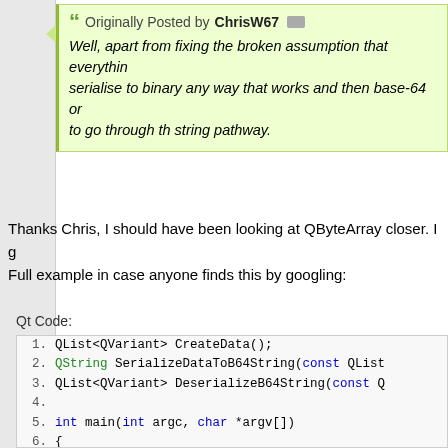Originally Posted by ChrisW67
Well, apart from fixing the broken assumption that everything serialise to binary any way that works and then base-64 or to go through th string pathway.
Thanks Chris, I should have been looking at QByteArray closer. I g
Full example in case anyone finds this by googling:
Qt Code:
[Figure (screenshot): Code block showing C++ Qt code with line numbers 1-18, including function declarations and main function body with QApplication, QList, QString, qDebug, Q_ASSERT, and for loop.]